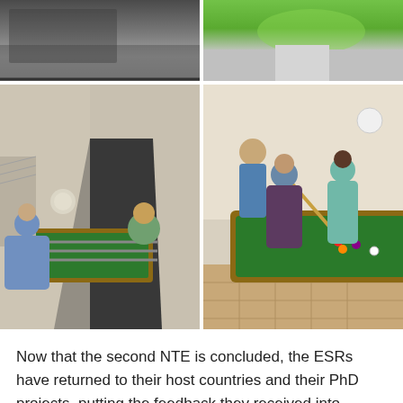[Figure (photo): Top-left: partial view of a foosball table area with dark ceiling/floor. Top-right: outdoor scene with green grass and light gravel path.]
[Figure (photo): Bottom-left: people playing foosball in a hallway with stairs visible. Bottom-right: people around a billiards/pool table with green felt in a room.]
Now that the second NTE is concluded, the ESRs have returned to their host countries and their PhD projects, putting the feedback they received into practice and continuing working on their first publication. In the